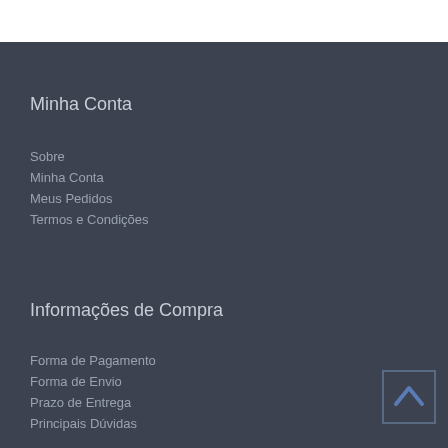Minha Conta
Sobre
Minha Conta
Meus Pedidos
Termos e Condições
Informações de Compra
Forma de Pagamento
Forma de Envio
Prazo de Entrega
Principais Dúvidas
[Figure (other): Scroll-to-top button with upward chevron arrow, dark blue border on dark background]